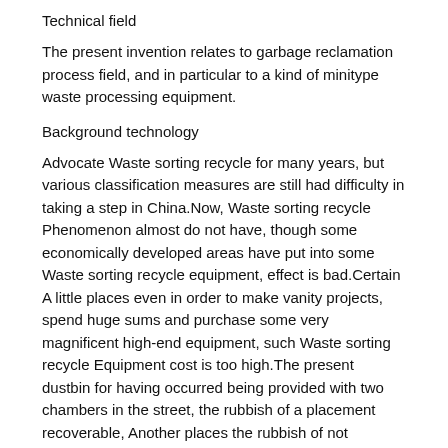Technical field
The present invention relates to garbage reclamation process field, and in particular to a kind of minitype waste processing equipment.
Background technology
Advocate Waste sorting recycle for many years, but various classification measures are still had difficulty in taking a step in China.Now, Waste sorting recycle Phenomenon almost do not have, though some economically developed areas have put into some Waste sorting recycle equipment, effect is bad.Certain A little places even in order to make vanity projects, spend huge sums and purchase some very magnificent high-end equipment, such Waste sorting recycle Equipment cost is too high.The present dustbin for having occurred being provided with two chambers in the street, the rubbish of a placement recoverable, Another places the rubbish of not recoverable, but such dustbin can not meet the needs of market, still need to substantial amounts of people Power and material resources are subdivided.